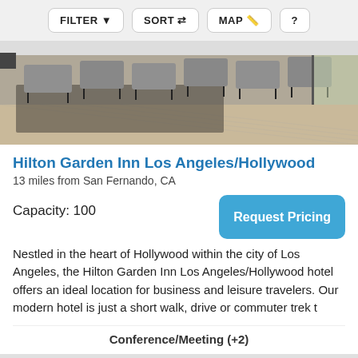FILTER  SORT  MAP  ?
[Figure (photo): Interior photo of Hilton Garden Inn Los Angeles/Hollywood showing conference/meeting room setup with gray chairs and modern decor]
Hilton Garden Inn Los Angeles/Hollywood
13 miles from San Fernando, CA
Capacity: 100
Request Pricing
Nestled in the heart of Hollywood within the city of Los Angeles, the Hilton Garden Inn Los Angeles/Hollywood hotel offers an ideal location for business and leisure travelers. Our modern hotel is just a short walk, drive or commuter trek t
Conference/Meeting (+2)
[Figure (photo): Exterior or garden photo of another hotel listing, showing lush green foliage with a Fast Response badge]